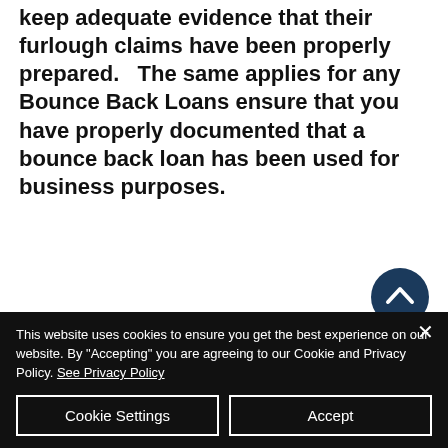keep adequate evidence that their furlough claims have been properly prepared.   The same applies for any Bounce Back Loans ensure that you have properly documented that a bounce back loan has been used for business purposes.
HMRC have the power to investigate any claims.  An HMRC enquiry will always come at the
This website uses cookies to ensure you get the best experience on our website. By "Accepting" you are agreeing to our Cookie and Privacy Policy. See Privacy Policy